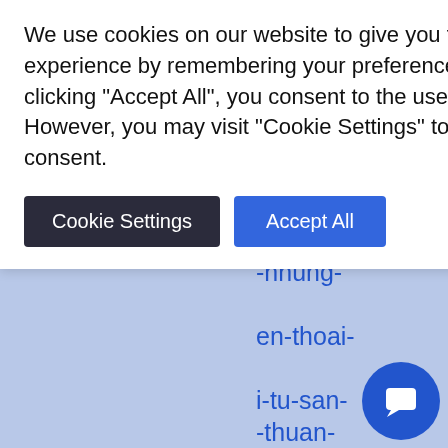-nen-biet- bai/ h-va-so- noi-moi- -nhung- noi-bai/ -dong-xe- n-nay/ -nhung- en-thoai- i-tu-san- -thuan-
We use cookies on our website to give you the most relevant experience by remembering your preferences and repeat visits. By clicking "Accept All", you consent to the use of ALL the cookies. However, you may visit "Cookie Settings" to provide a controlled consent.
Cookie Settings    Accept All
tien/ https://taxiphucha.com/3-cach-di-tu-san-bay-noi-bai-den-ben-xe-my-dinh-thuan-tien/ https://taxiphucha.com/14-n hang-gan-san-bay-noi-bai-duoc-yeu-th https://taxiphucha.com/cach-don-nguoi than-o-san-bay-noi-bai-de-dang/ https://taxiphucha.com/dich-vu-taxi/dua-don-san-bay/ https://taxiphucha.com/dich-vu-taxi/noi-bai/ https://taxiphucha.com/dich-vu-taxi/san-bay/ https://taxiphucha.com/dich-vu-